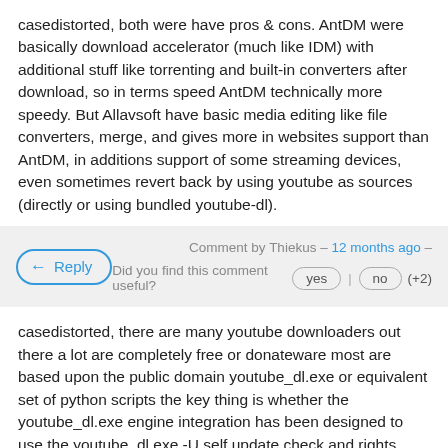casedistorted, both were have pros & cons. AntDM were basically download accelerator (much like IDM) with additional stuff like torrenting and built-in converters after download, so in terms speed AntDM technically more speedy. But Allavsoft have basic media editing like file converters, merge, and gives more in websites support than AntDM, in additions support of some streaming devices, even sometimes revert back by using youtube as sources (directly or using bundled youtube-dl).
Comment by Thiekus – 12 months ago –
Did you find this comment useful?
Reply
yes | no (+2)
casedistorted, there are many youtube downloaders out there a lot are completely free or donateware most are based upon the public domain youtube_dl.exe or equivalent set of python scripts the key thing is whether the youtube_dl.exe engine integration has been designed to use the youtube_dl.exe -U self update check and rights